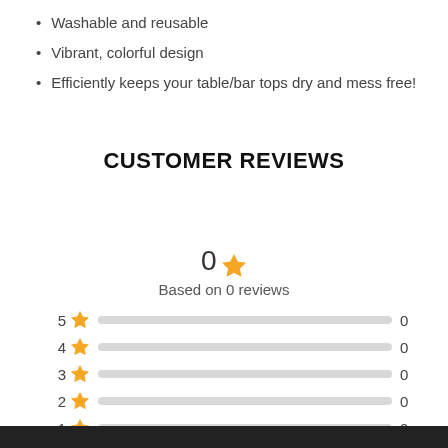Washable and reusable
Vibrant, colorful design
Efficiently keeps your table/bar tops dry and mess free!
CUSTOMER REVIEWS
0★
Based on 0 reviews
[Figure (bar-chart): Rating breakdown]